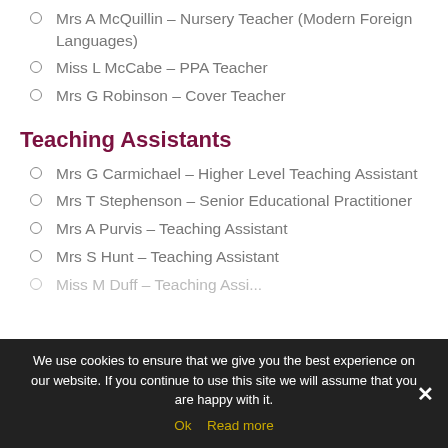Mrs A McQuillin – Nursery Teacher (Modern Foreign Languages)
Miss L McCabe – PPA Teacher
Mrs G Robinson – Cover Teacher
Teaching Assistants
Mrs G Carmichael – Higher Level Teaching Assistant
Mrs T Stephenson – Senior Educational Practitioner
Mrs A Purvis – Teaching Assistant
Mrs S Hunt – Teaching Assistant
We use cookies to ensure that we give you the best experience on our website. If you continue to use this site we will assume that you are happy with it.
Ok  Read more